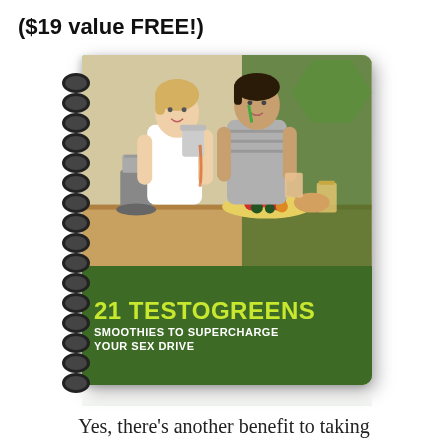($19 value FREE!)
[Figure (illustration): Spiral-bound book cover titled '21 TestoGreens Smoothies to Supercharge Your Sex Drive' with green cover, photo of a couple making smoothies, and a yellow-green title text on dark green banner.]
Yes, there’s another benefit to taking